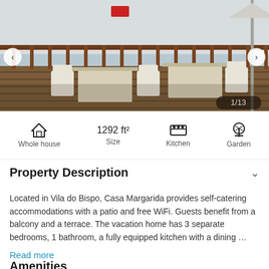[Figure (photo): Outdoor terrace/patio with white plastic chairs and tables on a wooden deck, with a railing and parasol visible, sunny day]
1 / 13
Whole house   1292 ft²   Kitchen   Garden
Property Description
Located in Vila do Bispo, Casa Margarida provides self-catering accommodations with a patio and free WiFi. Guests benefit from a balcony and a terrace. The vacation home has 3 separate bedrooms, 1 bathroom, a fully equipped kitchen with a dining …
Read more
Amenities